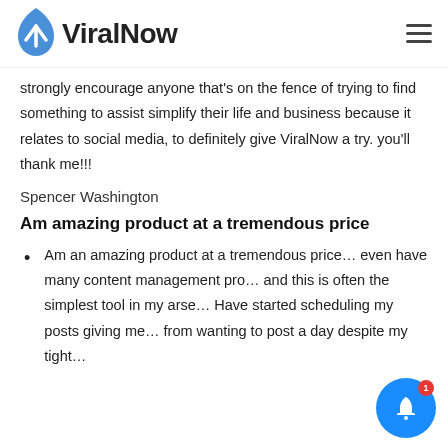ViralNow
strongly encourage anyone that's on the fence of trying to find something to assist simplify their life and business because it relates to social media, to definitely give ViralNow a try. you'll thank me!!!
Spencer Washington
Am amazing product at a tremendous price
Am an amazing product at a tremendous price even have many content management pro... and this is often the simplest tool in my arse... Have started scheduling my posts giving me... from wanting to post a day despite my tight...